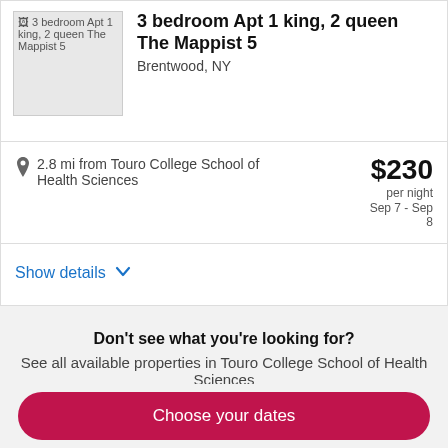[Figure (photo): Thumbnail image of 3 bedroom apartment listing placeholder]
3 bedroom Apt 1 king, 2 queen The Mappist 5
Brentwood, NY
2.8 mi from Touro College School of Health Sciences
$230 per night Sep 7 - Sep 8
Show details
Don't see what you're looking for? See all available properties in Touro College School of Health Sciences
Choose your dates